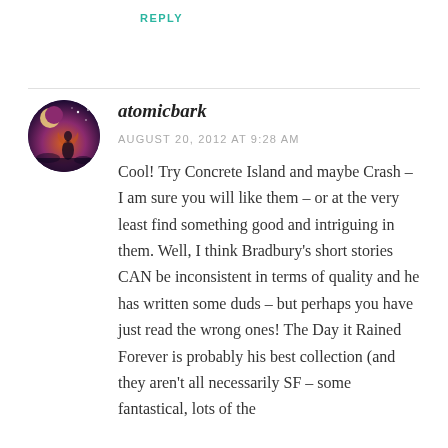REPLY
atomicbark
AUGUST 20, 2012 AT 9:28 AM
Cool! Try Concrete Island and maybe Crash – I am sure you will like them – or at the very least find something good and intriguing in them. Well, I think Bradbury's short stories CAN be inconsistent in terms of quality and he has written some duds – but perhaps you have just read the wrong ones! The Day it Rained Forever is probably his best collection (and they aren't all necessarily SF – some fantastical, lots of the
[Figure (illustration): Circular avatar image with dark purple/fantasy artwork showing a figure against a dramatic sky background]